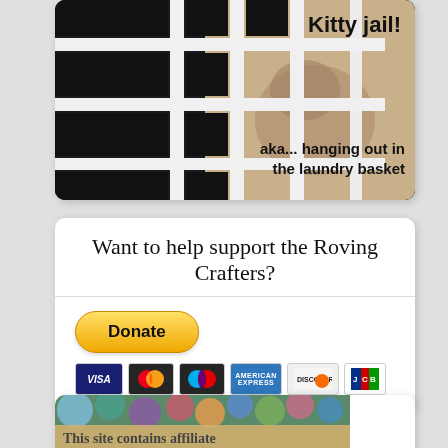[Figure (photo): Photo of a cat viewed through a laundry basket grid, styled as 'kitty jail'. Text overlay reads 'Kitty jail!' and 'aka... hanging out in the laundry basket'.]
Want to help support the Roving Crafters?
[Figure (infographic): PayPal Donate button with payment card icons (Visa, Mastercard, others).]
[Figure (photo): Partial view of colorful yarn/fiber with overlay text: 'This site contains affiliate links in the form of banner']